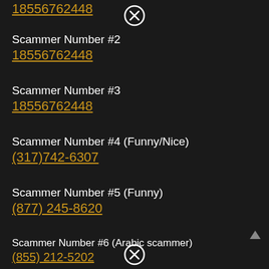18556762448 (truncated, top)
[Figure (other): Close/cancel button circle with X, top center]
Scammer Number #2
18556762448
Scammer Number #3
18556762448
Scammer Number #4 (Funny/Nice)
(317)742-6307
Scammer Number #5 (Funny)
(877) 245-8620
Scammer Number #6 (Arabic scammer)
(855) 212-5202
Scammer Number #7 (Airlines scammer)
(858) 256-7200
[Figure (other): Close/cancel button circle with X, bottom center]
[Figure (other): Scroll up arrow triangle, bottom right]